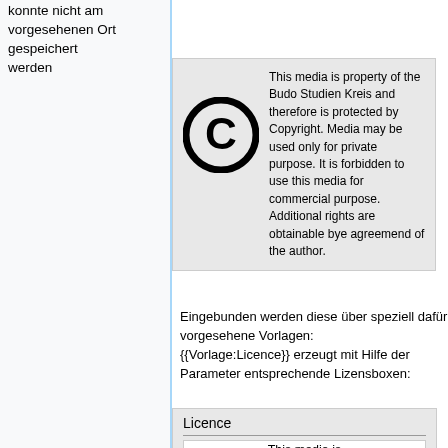konnte nicht am vorgesehenen Ort gespeichert werden
[Figure (other): Copyright notice box with copyright symbol (C in circle) and text: This media is property of the Budo Studien Kreis and therefore is protected by Copyright. Media may be used only for private purpose. It is forbidden to use this media for commercial purpose. Additional rights are obtainable bye agreemend of the author.]
Eingebunden werden diese über speziell dafür vorgesehene Vorlagen: {{Vorlage:Licence}} erzeugt mit Hilfe der Parameter entsprechende Lizensboxen:
| Licence |
| --- |
| This media is |